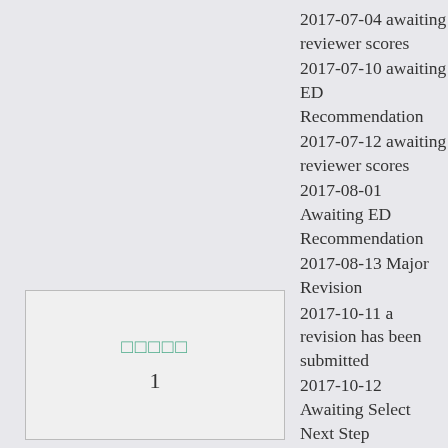2017-07-04 awaiting reviewer scores
2017-07-10 awaiting ED Recommendation
2017-07-12 awaiting reviewer scores
2017-08-01 Awaiting ED Recommendation
2017-08-13 Major Revision
2017-10-11 a revision has been submitted
2017-10-12 Awaiting Select Next Step
2017-10-16 Awaiting Reviewer Assignment
2017-10-18 Awaiting Reviewer Scores
| □□□□□ | 1 |